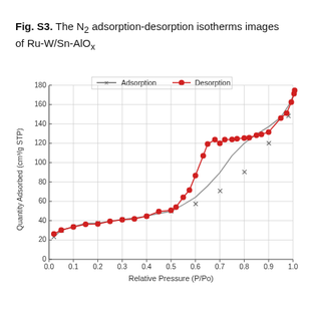Fig. S3. The N₂ adsorption-desorption isotherms images of Ru-W/Sn-AlOx
[Figure (continuous-plot): Line chart showing adsorption (gray line with x markers) and desorption (red line with filled circle markers) isotherms. Both curves start around 24-27 at P/Po=0.0, rise gradually to ~40 at 0.2, increase more steeply through 0.4-0.7 range showing hysteresis loop, with desorption curve above adsorption, reaching ~175-178 at P/Po=1.0.]